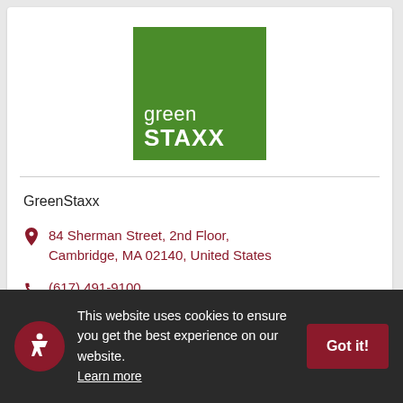[Figure (logo): GreenSTAXX logo — green square with 'green' in light weight and 'STAXX' in bold white text]
GreenStaxx
84 Sherman Street, 2nd Floor, Cambridge, MA 02140, United States
(617) 491-9100
Website
This website uses cookies to ensure you get the best experience on our website. Learn more